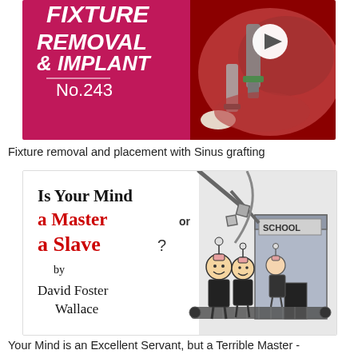[Figure (photo): Dental procedure image with magenta/red background showing text FIXTURE REMOVAL & IMPLANT No.243 with a play button icon, and a clinical photo of a dental implant procedure on the right side]
Fixture removal and placement with Sinus grafting
[Figure (illustration): Book cover illustration for 'Is Your Mind A MASTER or A SLAVE?' by David Foster Wallace, featuring cartoon children on a conveyor belt going into a school building, with mind-control devices on their heads]
Your Mind is an Excellent Servant, but a Terrible Master -